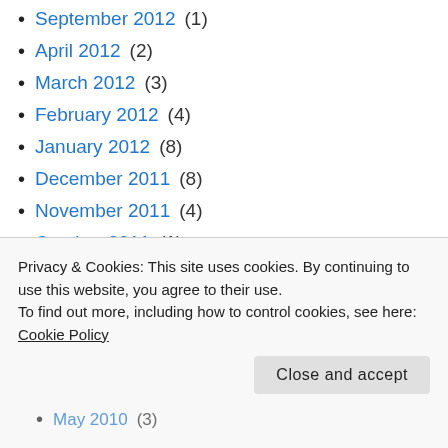September 2012 (1)
April 2012 (2)
March 2012 (3)
February 2012 (4)
January 2012 (8)
December 2011 (8)
November 2011 (4)
October 2011 (1)
September 2011 (1)
August 2011 (4)
July 2011 (2)
Privacy & Cookies: This site uses cookies. By continuing to use this website, you agree to their use. To find out more, including how to control cookies, see here: Cookie Policy
May 2010 (3)